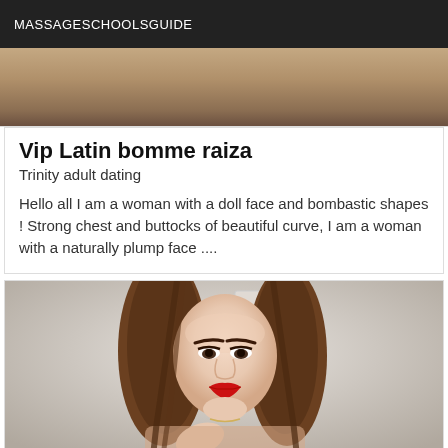MASSAGESCHOOLSGUIDE
[Figure (photo): Cropped photo showing a person's torso/back area with skin tones visible]
Vip Latin bomme raiza
Trinity adult dating
Hello all I am a woman with a doll face and bombastic shapes ! Strong chest and buttocks of beautiful curve, I am a woman with a naturally plump face ....
[Figure (photo): Portrait photo of a young woman with long brown hair and red lipstick, taking a selfie in a mirror]